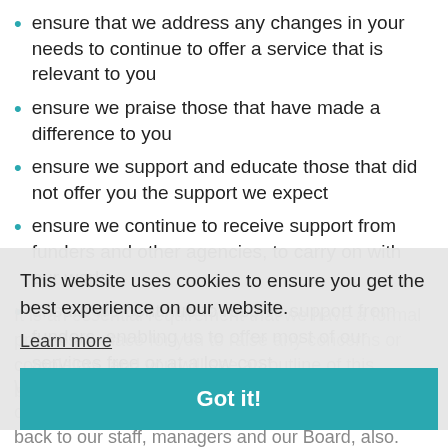ensure that we address any changes in your needs to continue to offer a service that is relevant to you
ensure we praise those that have made a difference to you
ensure we support and educate those that did not offer you the support we expect
ensure we continue to receive support from funders and other agencies, to carry on with our work
ensure we continue to receive support from funders, enabling us to offer most of our services free or at a low cost
It is an essential requirement that we have a formal process in place for you to raise any concerns or complaints, and you will see an outline of this below.
We equally find it important to register your compliments and suggestions, and we feed these back to our staff, managers and our Board, also.
This website uses cookies to ensure you get the best experience on our website. Learn more  Got it!